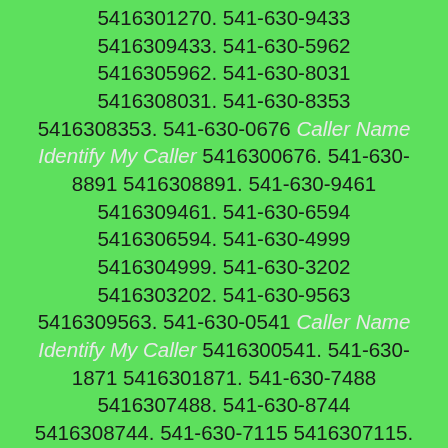5416301270. 541-630-9433 5416309433. 541-630-5962 5416305962. 541-630-8031 5416308031. 541-630-8353 5416308353. 541-630-0676 Caller Name Identify My Caller 5416300676. 541-630-8891 5416308891. 541-630-9461 5416309461. 541-630-6594 5416306594. 541-630-4999 5416304999. 541-630-3202 5416303202. 541-630-9563 5416309563. 541-630-0541 Caller Name Identify My Caller 5416300541. 541-630-1871 5416301871. 541-630-7488 5416307488. 541-630-8744 5416308744. 541-630-7115 5416307115. 541-630-6276 5416306276. 541-630-7811 5416307811. 541-630-6430 5416306430. 541-630-3271 5416303271. 541-630-0446 Caller Name Identify My Caller 5416300446. 541-630-3119 5416303119. 541-630-8792 5416308792. 541-630-7218 5416307218. 541-630-5995 5416305995. 541-630-5386